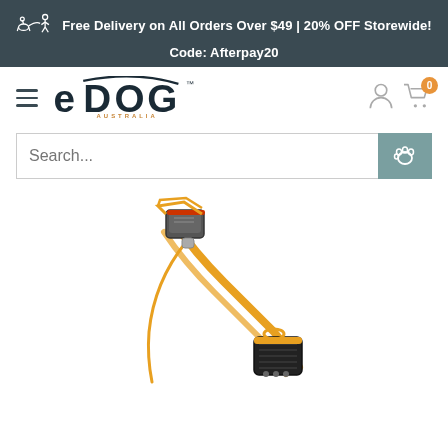Free Delivery on All Orders Over $49 | 20% OFF Storewide! Code: Afterpay20
[Figure (logo): eDOG Australia logo with hamburger menu, user icon, and cart icon showing 0 items]
[Figure (other): Search bar with paw print search button]
[Figure (photo): Orange and black dog training collar/bark collar product on white background]